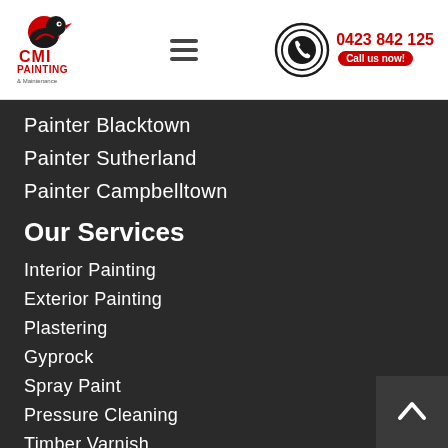[Figure (logo): CMI Painting & Maintenance logo with red and black bird/painter icon]
[Figure (infographic): Hamburger menu icon (three horizontal lines)]
[Figure (infographic): Phone call icon with circular rings, red phone number 0423 842 125 and Call us now button]
Painter Blacktown
Painter Sutherland
Painter Campbelltown
Our Services
Interior Painting
Exterior Painting
Plastering
Gyprock
Spray Paint
Pressure Cleaning
Timber Varnish